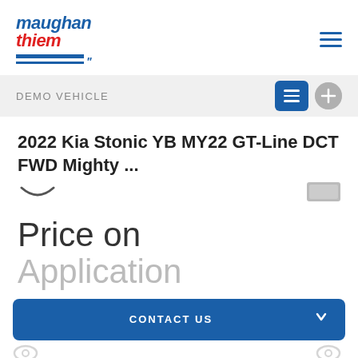[Figure (logo): Maughan Thiem dealership logo with blue and red italic bold text and blue decorative underline stripes]
DEMO VEHICLE
2022 Kia Stonic YB MY22 GT-Line DCT FWD Mighty ...
Price on Application
CONTACT US
FINANCE THIS VEHICLE